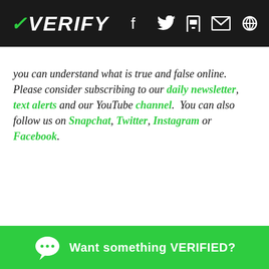VERIFY
you can understand what is true and false online. Please consider subscribing to our daily newsletter, text alerts and our YouTube channel.  You can also follow us on Snapchat, Twitter, Instagram or Facebook.
Want something VERIFIED?